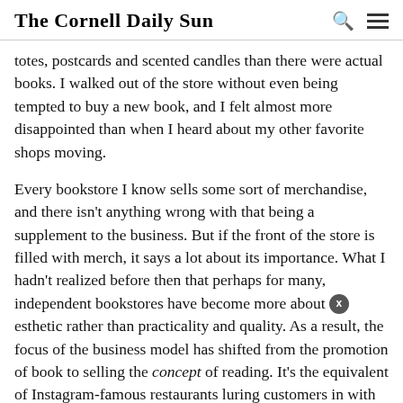The Cornell Daily Sun
totes, postcards and scented candles than there were actual books. I walked out of the store without even being tempted to buy a new book, and I felt almost more disappointed than when I heard about my other favorite shops moving.
Every bookstore I know sells some sort of merchandise, and there isn't anything wrong with that being a supplement to the business. But if the front of the store is filled with merch, it says a lot about its importance. What I hadn't realized before then that perhaps for many, independent bookstores have become more about esthetic rather than practicality and quality. As a result, the focus of the business model has shifted from the promotion of book to selling the concept of reading. It's the equivalent of Instagram-famous restaurants luring customers in with the prospect of getting the most likes